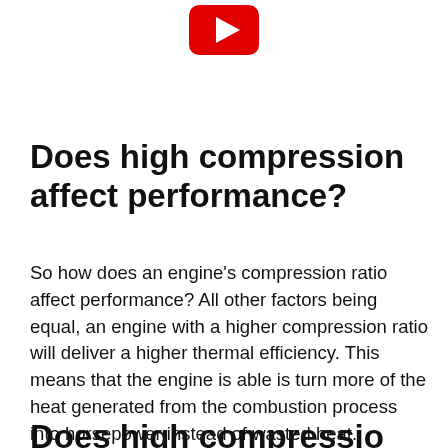[Figure (logo): YouTube logo icon (red rectangle with white play triangle) centered at top of page]
Does high compression affect performance?
So how does an engine’s compression ratio affect performance? All other factors being equal, an engine with a higher compression ratio will deliver a higher thermal efficiency. This means that the engine is able is turn more of the heat generated from the combustion process into horsepower instead of wasted heat.
Does high compression